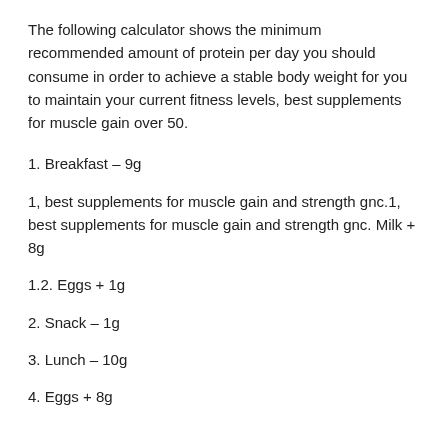The following calculator shows the minimum recommended amount of protein per day you should consume in order to achieve a stable body weight for you to maintain your current fitness levels, best supplements for muscle gain over 50.
1. Breakfast – 9g
1, best supplements for muscle gain and strength gnc.1, best supplements for muscle gain and strength gnc. Milk + 8g
1.2. Eggs + 1g
2. Snack – 1g
3. Lunch – 10g
4. Eggs + 8g